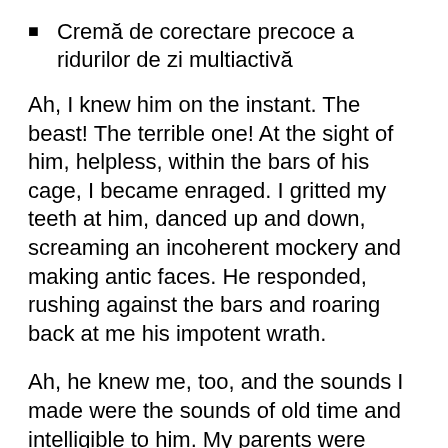Cremă de corectare precoce a ridurilor de zi multiactivă
Ah, I knew him on the instant. The beast! The terrible one! At the sight of him, helpless, within the bars of his cage, I became enraged. I gritted my teeth at him, danced up and down, screaming an incoherent mockery and making antic faces. He responded, rushing against the bars and roaring back at me his impotent wrath.
Ah, he knew me, too, and the sounds I made were the sounds of old time and intelligible to him. My parents were frightened. I never told them, and they never knew. Already had I developed reticence concerning this quality of mine, this semi-disassociation of personality monument brunswick suisse anti aging I think I am justified in calling it.